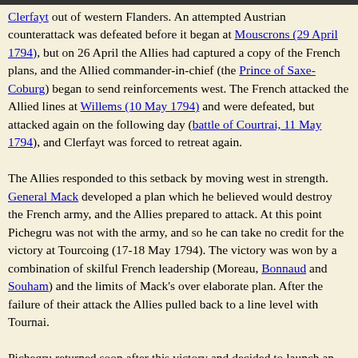Clerfayt out of western Flanders. An attempted Austrian counterattack was defeated before it began at Mouscrons (29 April 1794), but on 26 April the Allies had captured a copy of the French plans, and the Allied commander-in-chief (the Prince of Saxe-Coburg) began to send reinforcements west. The French attacked the Allied lines at Willems (10 May 1794) and were defeated, but attacked again on the following day (battle of Courtrai, 11 May 1794), and Clerfayt was forced to retreat again.

The Allies responded to this setback by moving west in strength. General Mack developed a plan which he believed would destroy the French army, and the Allies prepared to attack. At this point Pichegru was not with the army, and so he can take no credit for the victory at Tourcoing (17-18 May 1794). The victory was won by a combination of skilful French leadership (Moreau, Bonnaud and Souham) and the limits of Mack's over elaborate plan. After the failure of their attack the Allies pulled back to a line level with Tournai.

Pichegru returned soon after this victory and decided to launch an attack on the new Allied line (battle of Tournai, 22 May 1794). This was a costly failure, and temporarily halted the French advance in Flanders, but the battles at Tourcoing